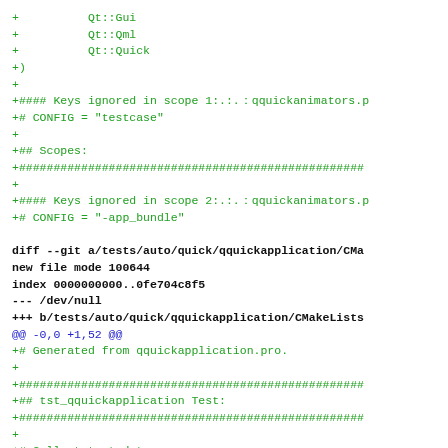diff file content showing git diff with additions in green and diff headers in bold/blue, including Qt library targets and CMakeLists.txt file creation